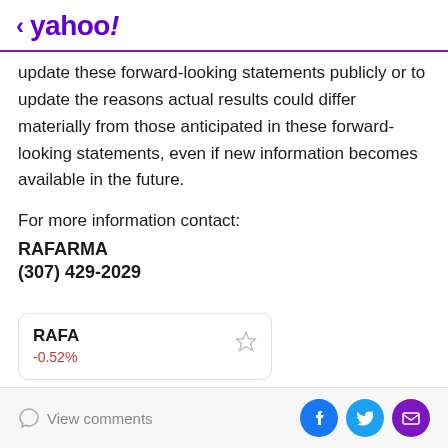< yahoo!
update these forward-looking statements publicly or to update the reasons actual results could differ materially from those anticipated in these forward-looking statements, even if new information becomes available in the future.
For more information contact:
RAFARMA
(307) 429-2029
[Figure (other): Stock card showing RAFA ticker with -0.52% change and a star/bookmark icon]
View comments | Facebook | Twitter | Email